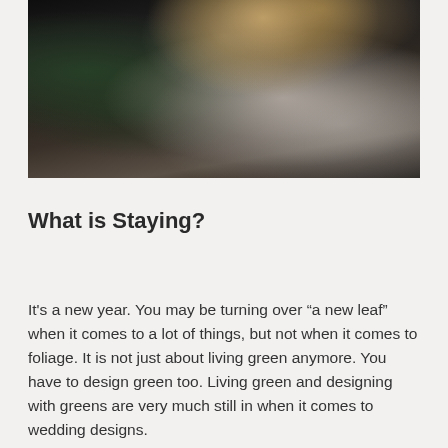[Figure (photo): Dark atmospheric photograph of a bride holding a floral bouquet with white flowers and greenery, wearing a white dress, against a dark background with warm sunlight catching the top of the bouquet.]
What is Staying?
It's a new year. You may be turning over “a new leaf” when it comes to a lot of things, but not when it comes to foliage. It is not just about living green anymore. You have to design green too. Living green and designing with greens are very much still in when it comes to wedding designs.